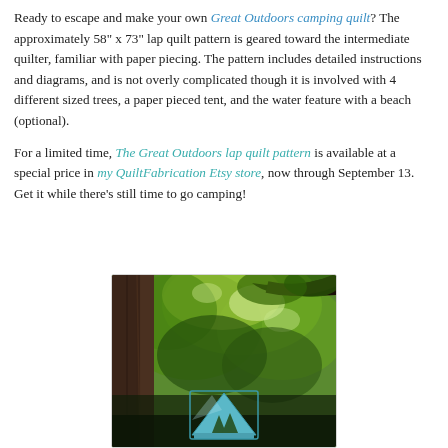Ready to escape and make your own Great Outdoors camping quilt? The approximately 58" x 73" lap quilt pattern is geared toward the intermediate quilter, familiar with paper piecing. The pattern includes detailed instructions and diagrams, and is not overly complicated though it is involved with 4 different sized trees, a paper pieced tent, and the water feature with a beach (optional).
For a limited time, The Great Outdoors lap quilt pattern is available at a special price in my QuiltFabrication Etsy store, now through September 13. Get it while there's still time to go camping!
[Figure (photo): Outdoor camping scene photographed through tree canopy. Dark tree trunk on left, green foliage and dappled light throughout, with a teal/light blue camping quilt visible in the lower center portion of the image.]